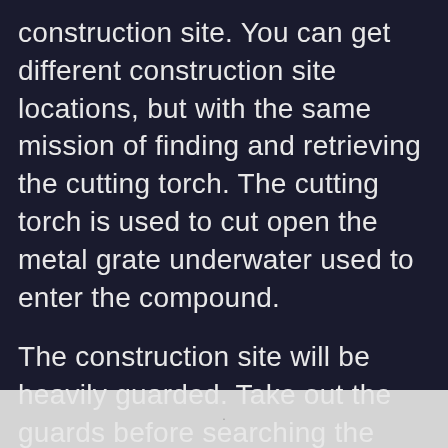construction site. You can get different construction site locations, but with the same mission of finding and retrieving the cutting torch. The cutting torch is used to cut open the metal grate underwater used to enter the compound.
The construction site will be heavily guarded. Take out the guards before searching the location for the cutting torch.